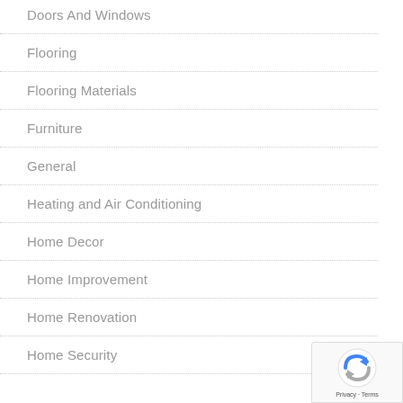Doors And Windows
Flooring
Flooring Materials
Furniture
General
Heating and Air Conditioning
Home Decor
Home Improvement
Home Renovation
Home Security
[Figure (logo): Google reCAPTCHA badge with Privacy and Terms text]